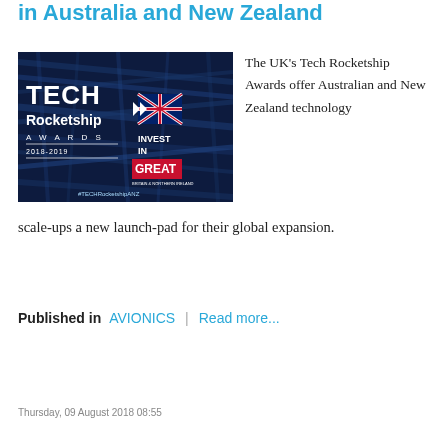in Australia and New Zealand
[Figure (photo): Tech Rocketship Awards 2018-2019 logo with Invest in GREAT Britain & Northern Ireland branding, dark blue background with server cables]
The UK's Tech Rocketship Awards offer Australian and New Zealand technology scale-ups a new launch-pad for their global expansion.
Published in  AVIONICS  |  Read more...
Thursday, 09 August 2018 08:55